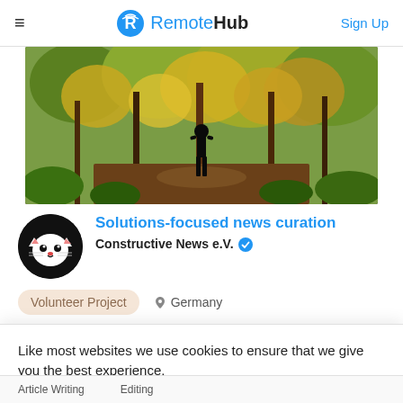RemoteHub — Sign Up
[Figure (photo): Landscape photo of a forest path with a silhouetted person standing among autumn trees with golden foliage]
Solutions-focused news curation
Constructive News e.V. ✓
Volunteer Project   📍 Germany
Like most websites we use cookies to ensure that we give you the best experience.
GOT IT   Learn more
Article Writing   Editing